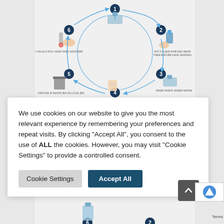[Figure (infographic): Hand hygiene / PPE cycle infographic showing circular steps with numbered icons: 1) Gloves/container at top, 2) Sanitize hands with running water, 3) Rinse hands with water, 4) Dry hands with paper towel, 5) Dispose in waste bin, 6) Apply alcohol hand sanitizer. Circular arrows connect each step.]
We use cookies on our website to give you the most relevant experience by remembering your preferences and repeat visits. By clicking “Accept All”, you consent to the use of ALL the cookies. However, you may visit "Cookie Settings" to provide a controlled consent.